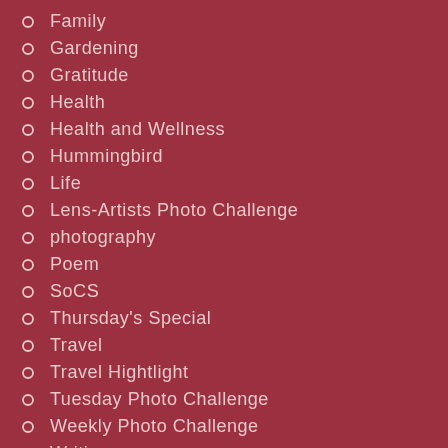Family
Gardening
Gratitude
Health
Health and Wellness
Hummingbird
Life
Lens-Artists Photo Challenge
photography
Poem
SoCS
Thursday's Special
Travel
Travel Hightlight
Tuesday Photo Challenge
Weekly Photo Challenge
Writing
100 Words Wednesday
Award